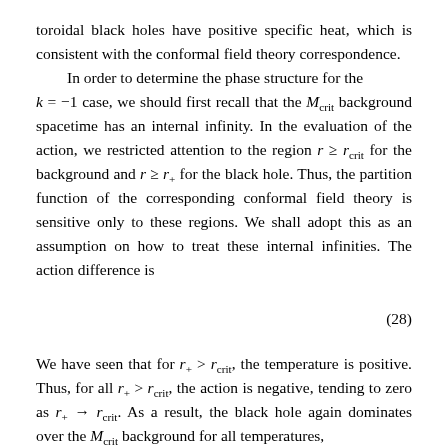toroidal black holes have positive specific heat, which is consistent with the conformal field theory correspondence.
In order to determine the phase structure for the k = −1 case, we should first recall that the M_crit background spacetime has an internal infinity. In the evaluation of the action, we restricted attention to the region r ≥ r_crit for the background and r ≥ r_+ for the black hole. Thus, the partition function of the corresponding conformal field theory is sensitive only to these regions. We shall adopt this as an assumption on how to treat these internal infinities. The action difference is
We have seen that for r_+ > r_crit, the temperature is positive. Thus, for all r_+ > r_crit, the action is negative, tending to zero as r_+ → r_crit. As a result, the black hole again dominates over the M_crit background for all temperatures,